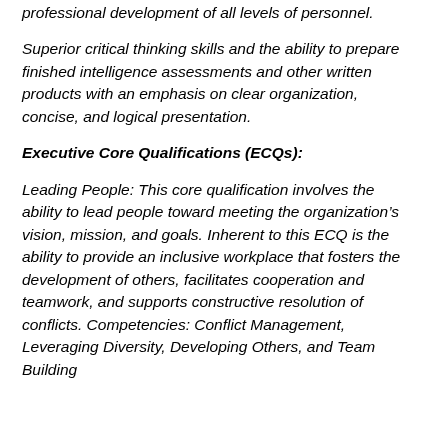professional development of all levels of personnel.
Superior critical thinking skills and the ability to prepare finished intelligence assessments and other written products with an emphasis on clear organization, concise, and logical presentation.
Executive Core Qualifications (ECQs):
Leading People: This core qualification involves the ability to lead people toward meeting the organization’s vision, mission, and goals. Inherent to this ECQ is the ability to provide an inclusive workplace that fosters the development of others, facilitates cooperation and teamwork, and supports constructive resolution of conflicts. Competencies: Conflict Management, Leveraging Diversity, Developing Others, and Team Building